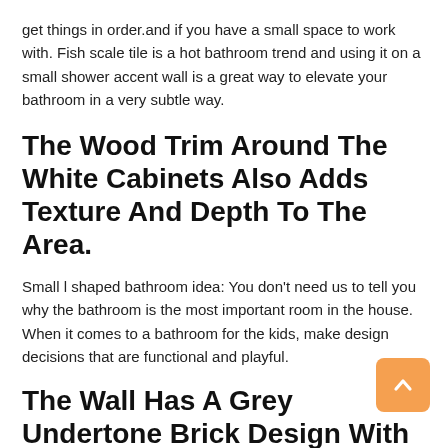get things in order.and if you have a small space to work with. Fish scale tile is a hot bathroom trend and using it on a small shower accent wall is a great way to elevate your bathroom in a very subtle way.
The Wood Trim Around The White Cabinets Also Adds Texture And Depth To The Area.
Small l shaped bathroom idea: You don't need us to tell you why the bathroom is the most important room in the house. When it comes to a bathroom for the kids, make design decisions that are functional and playful.
The Wall Has A Grey Undertone Brick Design With Dotted Flooring Making It One Of The Best Small L Shaped Bathroom Ideas.
See more ideas about small bathroom, bathroom design,